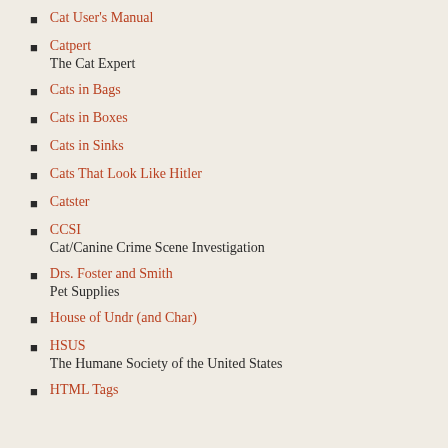Cat User's Manual
Catpert
The Cat Expert
Cats in Bags
Cats in Boxes
Cats in Sinks
Cats That Look Like Hitler
Catster
CCSI
Cat/Canine Crime Scene Investigation
Drs. Foster and Smith
Pet Supplies
House of Undr (and Char)
HSUS
The Humane Society of the United States
HTML Tags